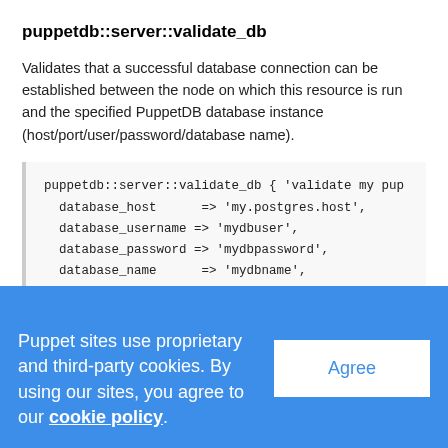puppetdb::server::validate_db
Validates that a successful database connection can be established between the node on which this resource is run and the specified PuppetDB database instance (host/port/user/password/database name).
puppetdb::server::validate_db { 'validate my pup
  database_host      => 'my.postgres.host',
  database_username => 'mydbuser',
  database_password => 'mydbpassword',
  database_name      => 'mydbname',
Puppet sites use proprietary and third-party cookies. By using our sites, you agree to our cookie policy.